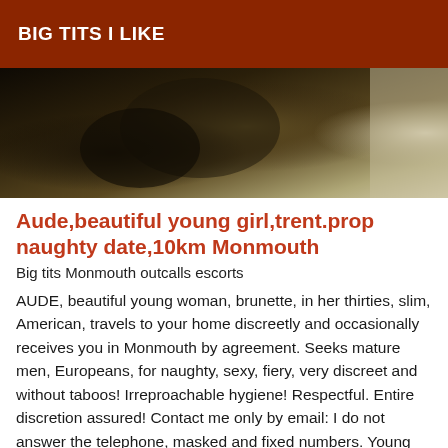BIG TITS I LIKE
[Figure (photo): Dark, dimly lit photograph showing a dark background with some floral or patterned fabric visible, and a lighter area on the right side.]
Aude,beautiful young girl,trent.prop naughty date,10km Monmouth
Big tits Monmouth outcalls escorts
AUDE, beautiful young woman, brunette, in her thirties, slim, American, travels to your home discreetly and occasionally receives you in Monmouth by agreement. Seeks mature men, Europeans, for naughty, sexy, fiery, very discreet and without taboos! Irreproachable hygiene! Respectful. Entire discretion assured! Contact me only by email: I do not answer the telephone, masked and fixed numbers. Young men under 30 years abstain: I will block you. Only by MAIL: My Golden